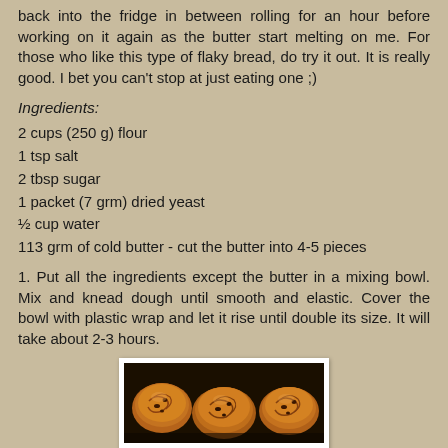back into the fridge in between rolling for an hour before working on it again as the butter start melting on me. For those who like this type of flaky bread, do try it out. It is really good. I bet you can't stop at just eating one ;)
Ingredients:
2 cups (250 g) flour
1 tsp salt
2 tbsp sugar
1 packet (7 grm) dried yeast
½ cup water
113 grm of cold butter - cut the butter into 4-5 pieces
1. Put all the ingredients except the butter in a mixing bowl. Mix and knead dough until smooth and elastic. Cover the bowl with plastic wrap and let it rise until double its size. It will take about 2-3 hours.
[Figure (photo): Baked flaky bread rolls with raisins, golden brown, arranged in a baking tray]